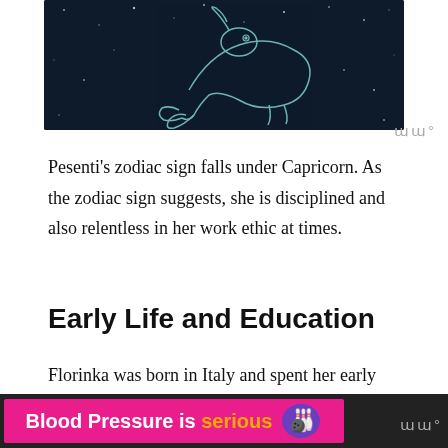[Figure (illustration): Dark navy background with a line-art illustration of a Capricorn (sea-goat) zodiac constellation symbol against a starry sky]
Pesenti's zodiac sign falls under Capricorn. As the zodiac sign suggests, she is disciplined and also relentless in her work ethic at times.
Early Life and Education
Florinka was born in Italy and spent her early days there with the family and siblings. With one of the parents being involved in photography, the environment helped Colorado the
[Figure (infographic): Advertisement banner: pink background with text 'Blood Pressure is serious' in white and orange, with a logo on the right, on a dark bar at the bottom of the page]